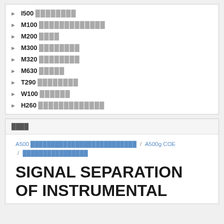I500 ████████
M100 █████████████
M200 ████
M300 ████████
M320 ████████
M630 █████
T290 ████████
W100 ██████
H260 █████████████
████
A500 ██████████████████████████ / A500g COE / ████████████████
SIGNAL SEPARATION OF INSTRUMENTAL